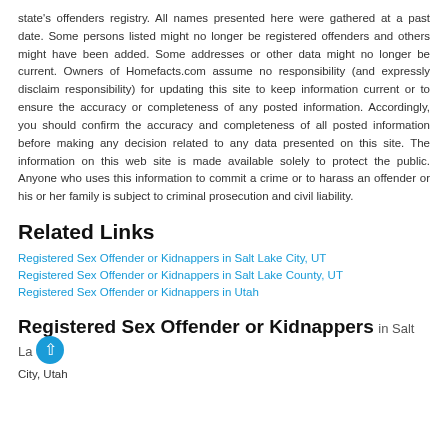state's offenders registry. All names presented here were gathered at a past date. Some persons listed might no longer be registered offenders and others might have been added. Some addresses or other data might no longer be current. Owners of Homefacts.com assume no responsibility (and expressly disclaim responsibility) for updating this site to keep information current or to ensure the accuracy or completeness of any posted information. Accordingly, you should confirm the accuracy and completeness of all posted information before making any decision related to any data presented on this site. The information on this web site is made available solely to protect the public. Anyone who uses this information to commit a crime or to harass an offender or his or her family is subject to criminal prosecution and civil liability.
Related Links
Registered Sex Offender or Kidnappers in Salt Lake City, UT
Registered Sex Offender or Kidnappers in Salt Lake County, UT
Registered Sex Offender or Kidnappers in Utah
Registered Sex Offender or Kidnappers in Salt Lake City, Utah